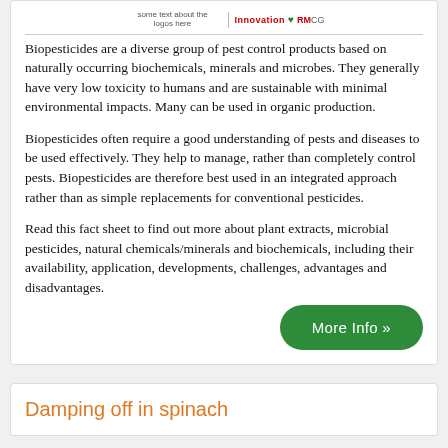[Figure (logo): Header logos row with innovation and RMCG logos]
Biopesticides are a diverse group of pest control products based on naturally occurring biochemicals, minerals and microbes. They generally have very low toxicity to humans and are sustainable with minimal environmental impacts. Many can be used in organic production.
Biopesticides often require a good understanding of pests and diseases to be used effectively. They help to manage, rather than completely control pests. Biopesticides are therefore best used in an integrated approach rather than as simple replacements for conventional pesticides.
Read this fact sheet to find out more about plant extracts, microbial pesticides, natural chemicals/minerals and biochemicals, including their availability, application, developments, challenges, advantages and disadvantages.
More Info »
Damping off in spinach